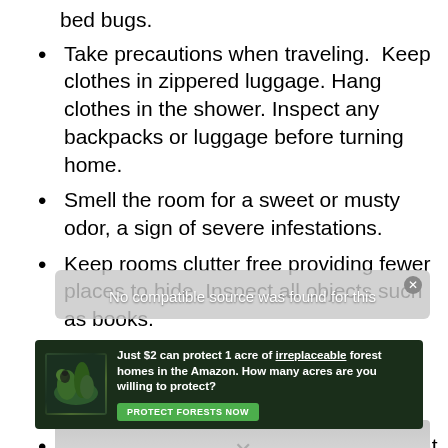bed bugs.
Take precautions when traveling.  Keep clothes in zippered luggage. Hang clothes in the shower. Inspect any backpacks or luggage before turning home.
Smell the room for a sweet or musty odor, a sign of severe infestations.
Keep rooms clutter free providing fewer places to hide. Inspect all objects such as books.
Seal any cracks and crevices to avoid spread from adjacent rooms or apartments.
Keep objects away from walls. Note that bed bugs